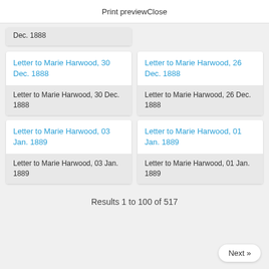Print preview
Dec. 1888
Letter to Marie Harwood, 26 Dec. 1888
Letter to Marie Harwood, 30 Dec. 1888
Letter to Marie Harwood, 30 Dec. 1888
Letter to Marie Harwood, 26 Dec. 1888
Letter to Marie Harwood, 03 Jan. 1889
Letter to Marie Harwood, 03 Jan. 1889
Letter to Marie Harwood, 01 Jan. 1889
Letter to Marie Harwood, 01 Jan. 1889
Results 1 to 100 of 517
Next »